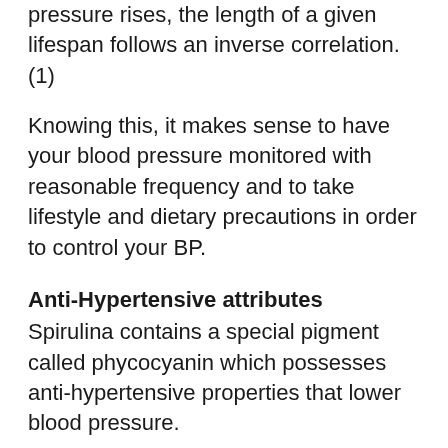pressure rises, the length of a given lifespan follows an inverse correlation. (1)
Knowing this, it makes sense to have your blood pressure monitored with reasonable frequency and to take lifestyle and dietary precautions in order to control your BP.
Anti-Hypertensive attributes
Spirulina contains a special pigment called phycocyanin which possesses anti-hypertensive properties that lower blood pressure.
The pigment may help to reverse some of the effects of endothelial dysfunction which is part of the metabolic syndrome. (2)
Metabolic syndrome may be one of the